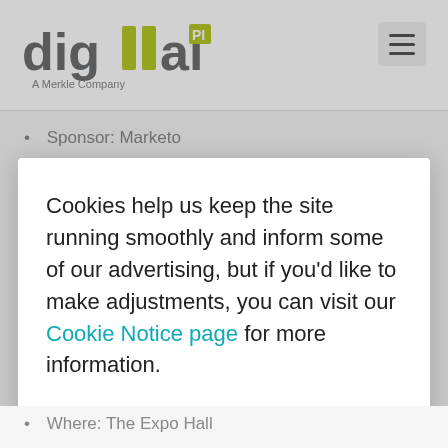[Figure (logo): Digital Pi logo - A Merkle Company]
Sponsor: Marketo
Register: No registration required. Conference
Cookies help us keep the site running smoothly and inform some of our advertising, but if you'd like to make adjustments, you can visit our Cookie Notice page for more information.
Where: The Expo Hall